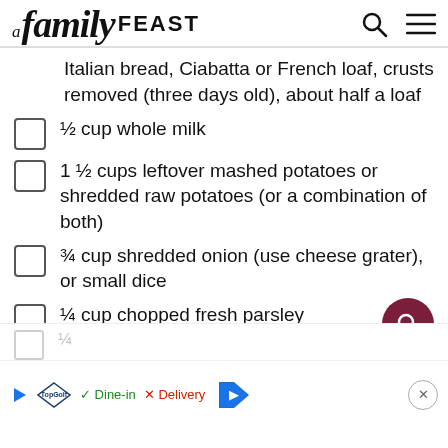A family FEAST
Italian bread, Ciabatta or French loaf, crusts removed (three days old), about half a loaf
½ cup whole milk
1 ½ cups leftover mashed potatoes or shredded raw potatoes (or a combination of both)
¾ cup shredded onion (use cheese grater), or small dice
¼ cup chopped fresh parsley
¾ tablespoons salt
¼
1/s